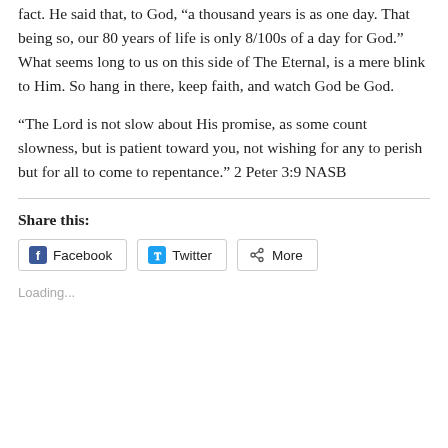fact. He said that, to God, “a thousand years is as one day. That being so, our 80 years of life is only 8/100s of a day for God.” What seems long to us on this side of The Eternal, is a mere blink to Him. So hang in there, keep faith, and watch God be God.
“The Lord is not slow about His promise, as some count slowness, but is patient toward you, not wishing for any to perish but for all to come to repentance.” 2 Peter 3:9 NASB
Share this:
[Figure (other): Social share buttons for Facebook, Twitter, and More]
Loading...